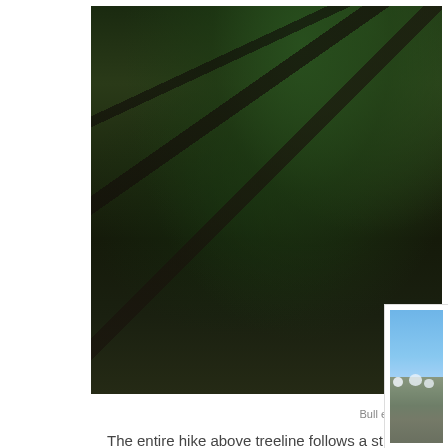[Figure (photo): Forest scene with fallen logs, conifer trees with green foliage, dark forest floor visible. Bull elk stand-off photo, partially cropped on right edge.]
Bull elk stand off
The entire hike above treeline follows a straight line along a long ridge. beginning to bloom.
[Figure (photo): Mountain landscape with snow-capped peaks under a clear blue sky. Rocky mountain range with patches of snow visible on the peaks and ridges.]